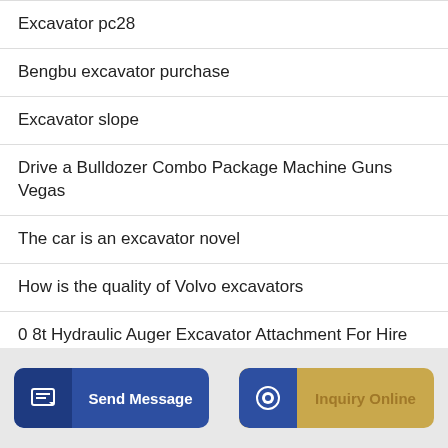Excavator pc28
Bengbu excavator purchase
Excavator slope
Drive a Bulldozer Combo Package Machine Guns Vegas
The car is an excavator novel
How is the quality of Volvo excavators
0 8t Hydraulic Auger Excavator Attachment For Hire
Send Message
Inquiry Online